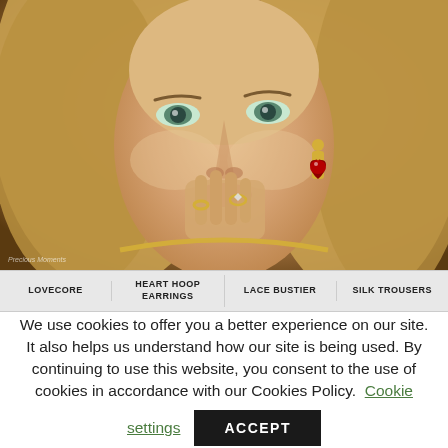[Figure (photo): Close-up portrait of a young blonde woman with green eyes, wearing heart-shaped drop earrings with red gemstone, gold chain necklace, and a ring, with her hands near her face in a thoughtful pose.]
LOVECORE | HEART HOOP EARRINGS | LACE BUSTIER | SILK TROUSERS
We use cookies to offer you a better experience on our site. It also helps us understand how our site is being used. By continuing to use this website, you consent to the use of cookies in accordance with our Cookies Policy. Cookie settings ACCEPT